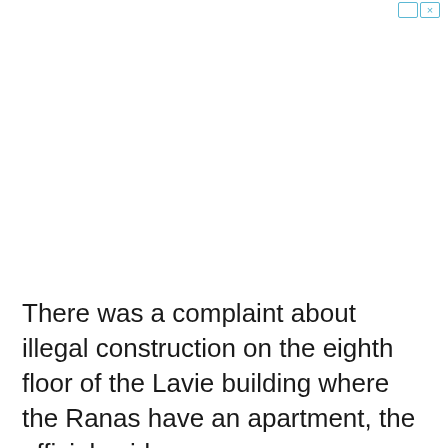There was a complaint about illegal construction on the eighth floor of the Lavie building where the Ranas have an apartment, the official said.